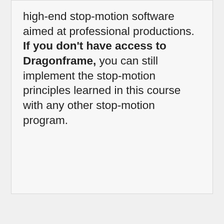high-end stop-motion software aimed at professional productions. If you don't have access to Dragonframe, you can still implement the stop-motion principles learned in this course with any other stop-motion program.